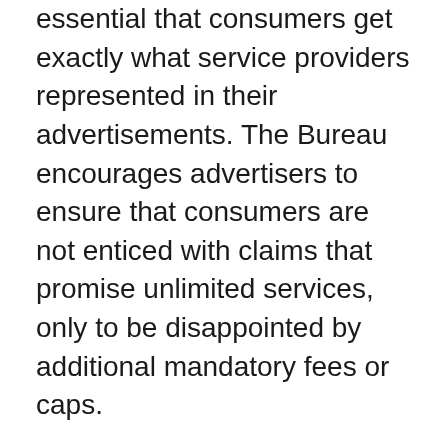essential that consumers get exactly what service providers represented in their advertisements. The Bureau encourages advertisers to ensure that consumers are not enticed with claims that promise unlimited services, only to be disappointed by additional mandatory fees or caps.
The Competition Bureau will continue to monitor and take action to correct misleading advertising practices of this kind, with an aim to ensure that consumers have truthful and accurate information, and that businesses can compete on a level playing field.